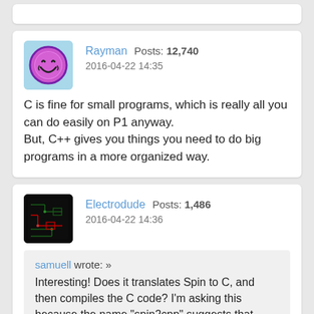Rayman  Posts: 12,740  2016-04-22 14:35
C is fine for small programs, which is really all you can do easily on P1 anyway.
But, C++ gives you things you need to do big programs in a more organized way.
Electrodude  Posts: 1,486  2016-04-22 14:36
samuell wrote: » Interesting! Does it translates Spin to C, and then compiles the C code? I'm asking this because the name "spin2cpp" suggests that. Well, at least I'm on the right track by using C (sadly, as I wanted to learn